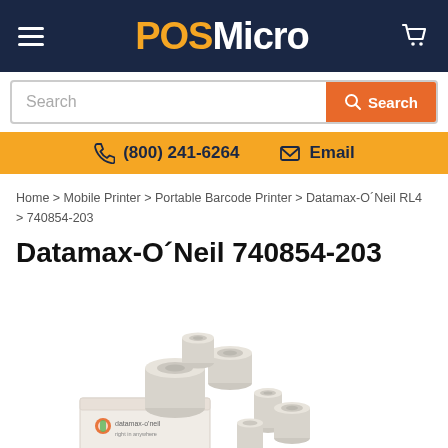POSMicro
Search
(800) 241-6264  Email
Home > Mobile Printer > Portable Barcode Printer > Datamax-O´Neil RL4 > 740854-203
Datamax-O´Neil 740854-203
[Figure (photo): Product image showing multiple thermal paper rolls and a box labeled datamax-o'neil]